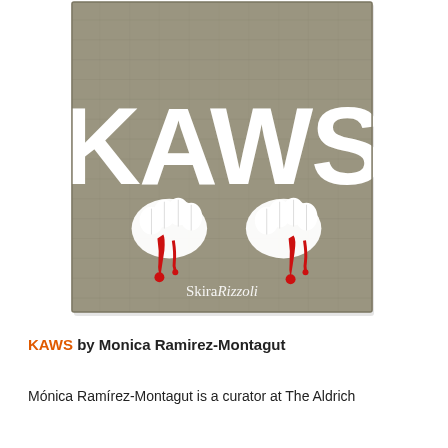[Figure (photo): Book cover of 'KAWS' published by Skira Rizzoli. The cover shows large white letters 'KAWS' on a linen-textured gray/olive background, with a cartoon character's gloved hands visible peeking up from the bottom, with red dripping paint. The publisher logo 'Skira Rizzoli' appears in white at the bottom center of the cover.]
KAWS by Monica Ramirez-Montagut
Mónica Ramírez-Montagut is a curator at The Aldrich